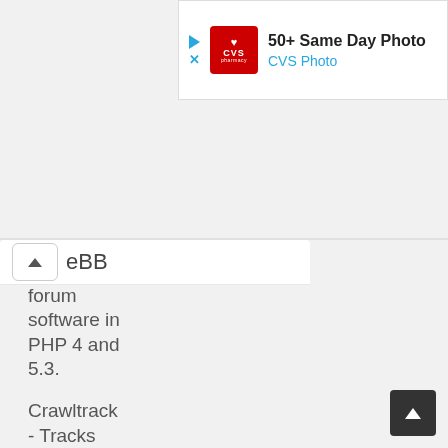[Figure (screenshot): CVS Pharmacy advertisement banner showing logo and '50+ Same Day Photo' text with CVS Photo subtitle]
eBB forum software in PHP 4 and 5.3.
Crawltrack - Tracks the visits of Crawler
MyBB - professional discussion board